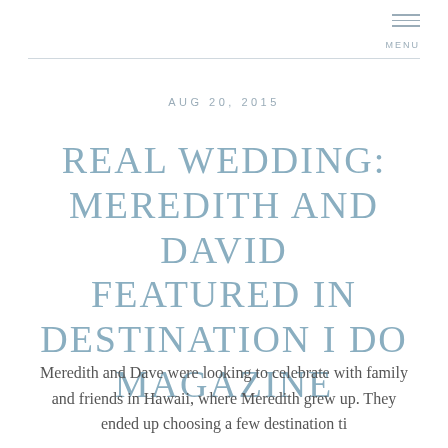MENU
AUG 20, 2015
REAL WEDDING: MEREDITH AND DAVID FEATURED IN DESTINATION I DO MAGAZINE
Meredith and Dave were looking to celebrate with family and friends in Hawaii, where Meredith grew up. They ended up choosing a few destination...